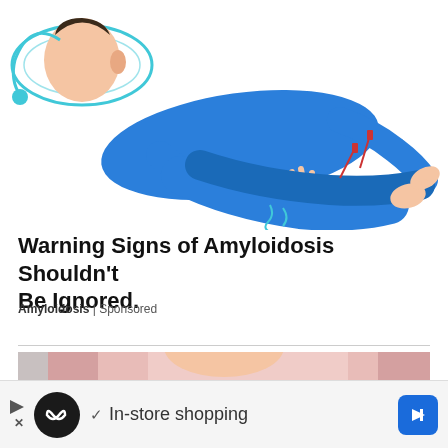[Figure (illustration): Illustration of a person lying down in a blue outfit, barefoot, with medical/acupuncture needles depicted. White background with cyan/blue line art accents.]
Warning Signs of Amyloidosis Shouldn't Be Ignored.
Amyloidosis | Sponsored
[Figure (photo): Close-up photo of a woman in a pink/mauve long-sleeve top, hands placed on her chest, light gray background. Suggests chest pain or heart-related content.]
In-store shopping